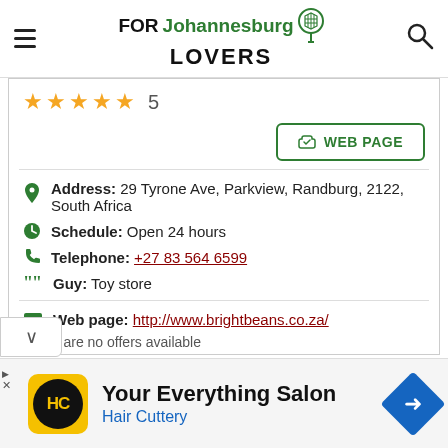FORJohannesburgLOVERS
[Figure (other): Star rating: 5 gold stars with number 5]
[Figure (other): WEB PAGE button with link icon]
Address: 29 Tyrone Ave, Parkview, Randburg, 2122, South Africa
Schedule: Open 24 hours
Telephone: +27 83 564 6599
Guy: Toy store
Web page: http://www.brightbeans.co.za/
There are no offers available
[Figure (other): Advertisement: Your Everything Salon - Hair Cuttery with HC logo]